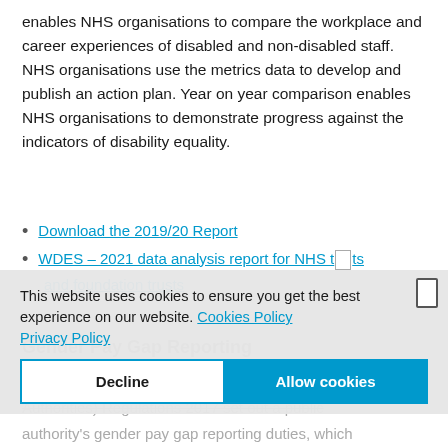enables NHS organisations to compare the workplace and career experiences of disabled and non-disabled staff. NHS organisations use the metrics data to develop and publish an action plan. Year on year comparison enables NHS organisations to demonstrate progress against the indicators of disability equality.
Download the 2019/20 Report
WDES – 2021 data analysis report for NHS trusts and foundation trusts
Gender Pay Gap Reporting
The Equality Act 2010 (Specific Duties and Public Authorities) Regulations 2017 set out a public authority's gender pay gap reporting duties, which form part of its public sector equality duty under the
This website uses cookies to ensure you get the best experience on our website. Cookies Policy Privacy Policy
Decline | Allow cookies